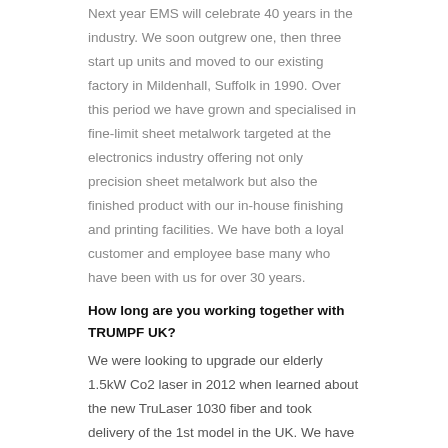Next year EMS will celebrate 40 years in the industry. We soon outgrew one, then three start up units and moved to our existing factory in Mildenhall, Suffolk in 1990. Over this period we have grown and specialised in fine-limit sheet metalwork targeted at the electronics industry offering not only precision sheet metalwork but also the finished product with our in-house finishing and printing facilities. We have both a loyal customer and employee base many who have been with us for over 30 years.
How long are you working together with TRUMPF UK?
We were looking to upgrade our elderly 1.5kW Co2 laser in 2012 when learned about the new TruLaser 1030 fiber and took delivery of the 1st model in the UK. We have over the course of the past 6 years been replacing all our